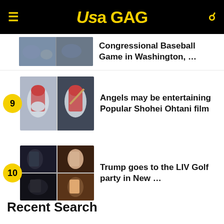USA GAG
[Figure (photo): Partial article thumbnail showing baseball game at Congressional Baseball Game in Washington]
Congressional Baseball Game in Washington, …
[Figure (photo): Two-panel photo of Shohei Ohtani in Angels uniform]
Angels may be entertaining Popular Shohei Ohtani film
[Figure (photo): Four-panel photo collage of Trump at LIV Golf party]
Trump goes to the LIV Golf party in New …
Recent Search